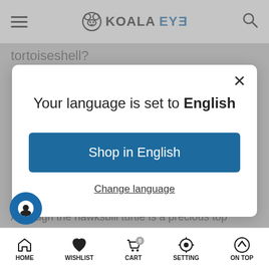KOALAEYE
tortoiseshell?
Your language is set to English
Shop in English
Change language
Although the hawksbill turtle is a precious top product, it is hi... c and cannot be eaten. However, the medicinal
HOME  WISHLIST  CART  SETTING  ON TOP